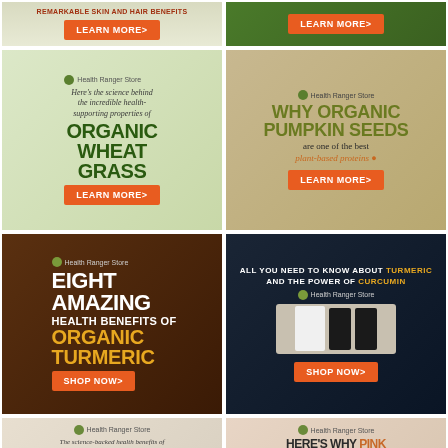[Figure (advertisement): Partial ad top-left: 'REMARKABLE SKIN AND HAIR BENEFITS' with orange LEARN MORE button]
[Figure (advertisement): Partial ad top-right: green background with LEARN MORE button]
[Figure (advertisement): Health Ranger Store ad: science behind incredible health-supporting properties of ORGANIC WHEAT GRASS - LEARN MORE]
[Figure (advertisement): Health Ranger Store ad: WHY ORGANIC PUMPKIN SEEDS are one of the best plant-based proteins - LEARN MORE]
[Figure (advertisement): Health Ranger Store ad: EIGHT AMAZING HEALTH BENEFITS OF ORGANIC TURMERIC - SHOP NOW]
[Figure (advertisement): Health Ranger Store ad: ALL YOU NEED TO KNOW ABOUT TURMERIC AND THE POWER OF CURCUMIN - SHOP NOW]
[Figure (advertisement): Health Ranger Store ad: The science-backed health benefits of ORGANIC BLACK CUMIN SEED - LEARN MORE]
[Figure (advertisement): Health Ranger Store ad: HERE'S WHY PINK HIMALAYAN SALT is the ultimate survival preparedness item to stock up on]